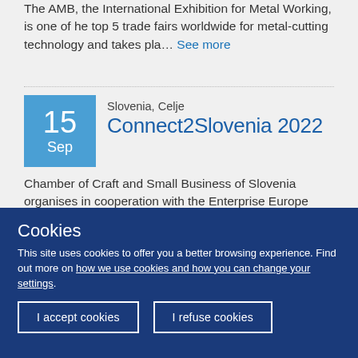The AMB, the International Exhibition for Metal Working, is one of he top 5 trade fairs worldwide for metal-cutting technology and takes pla… See more
Slovenia, Celje
Connect2Slovenia 2022
Chamber of Craft and Small Business of Slovenia organises in cooperation with the Enterprise Europe Network an International Matchmaking Eve… See more
Cookies
This site uses cookies to offer you a better browsing experience. Find out more on how we use cookies and how you can change your settings.
I accept cookies
I refuse cookies